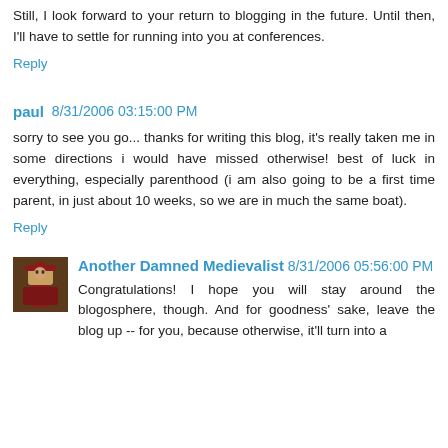Still, I look forward to your return to blogging in the future. Until then, I'll have to settle for running into you at conferences.
Reply
paul 8/31/2006 03:15:00 PM
sorry to see you go... thanks for writing this blog, it's really taken me in some directions i would have missed otherwise! best of luck in everything, especially parenthood (i am also going to be a first time parent, in just about 10 weeks, so we are in much the same boat).
Reply
Another Damned Medievalist 8/31/2006 05:56:00 PM
Congratulations! I hope you will stay around the blogosphere, though. And for goodness' sake, leave the blog up -- for you, because otherwise, it'll turn into a